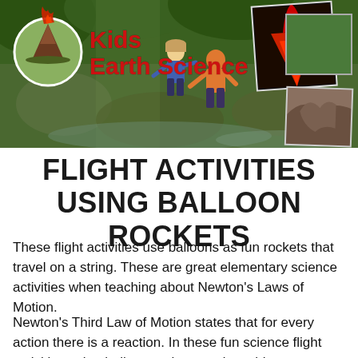[Figure (photo): Kids Earth Science website banner showing children playing in a forest stream, a circular volcano logo on the left, 'Kids Earth Science' text in red, and a photo collage of a red volcano eruption, a green square, and a rock formation on the right.]
FLIGHT ACTIVITIES USING BALLOON ROCKETS
These flight activities use balloons as fun rockets that travel on a string. These are great elementary science activities when teaching about Newton's Laws of Motion.
Newton's Third Law of Motion states that for every action there is a reaction. In these fun science flight activities using balloon rockets students blow up